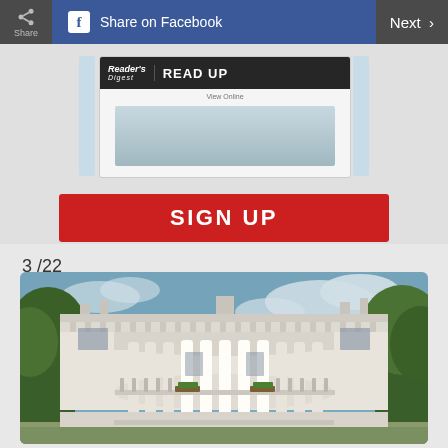Share | Share on Facebook | Next
[Figure (screenshot): Reader's Digest READ UP newsletter signup card with View Online link and red SIGN UP button]
3/22
[Figure (photo): Photograph of the White House South Portico showing white columns, balustrade, and trees under a partly cloudy sky]